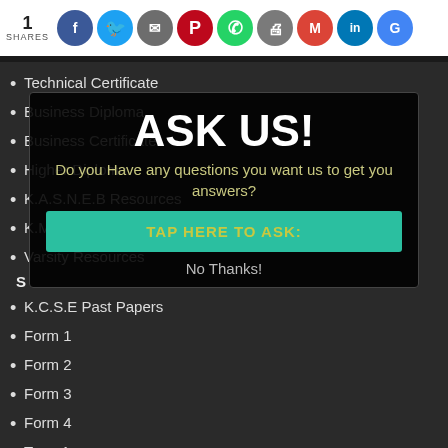1 SHARES
Technical Certificate
Business Diploma
Business Certificate
Higher Diploma
K.A.S.N.E.B Resources
K.M.T.C Resources
Varsity Resources
[Figure (infographic): Modal popup overlay with ASK US! heading, question text 'Do you Have any questions you want us to get you answers?', a teal TAP HERE TO ASK: button, and No Thanks! link]
K.C.S.E Past Papers
Form 1
Form 2
Form 3
Form 4
Term 1